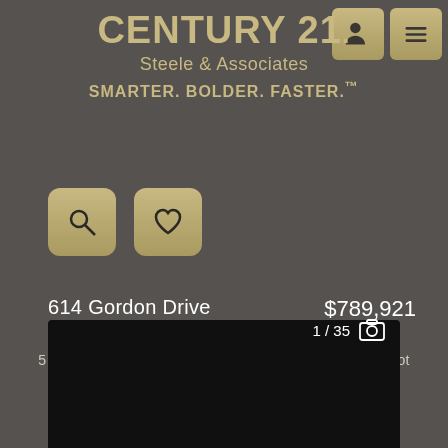[Figure (logo): Century 21 Steele & Associates logo with tagline SMARTER. BOLDER. FASTER.™]
[Figure (other): Search magnifier button icon (gold rounded square)]
[Figure (other): Heart/favorite button icon (gold rounded square)]
614 Gordon Drive
DECATUR, AL 35601
$789,921
5 bd    4 full ba    4,048 sqft    224 x 203 x 200 x 187 lot
Est payment $4240.47/mo
[Figure (photo): Property photo placeholder — dark/black image, 1/35 photos indicated]